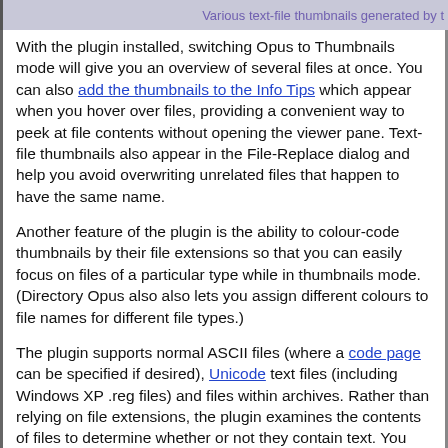Various text-file thumbnails generated by t…
With the plugin installed, switching Opus to Thumbnails mode will give you an overview of several files at once. You can also add the thumbnails to the Info Tips which appear when you hover over files, providing a convenient way to peek at file contents without opening the viewer pane. Text-file thumbnails also appear in the File-Replace dialog and help you avoid overwriting unrelated files that happen to have the same name.
Another feature of the plugin is the ability to colour-code thumbnails by their file extensions so that you can easily focus on files of a particular type while in thumbnails mode. (Directory Opus also also lets you assign different colours to file names for different file types.)
The plugin supports normal ASCII files (where a code page can be specified if desired), Unicode text files (including Windows XP .reg files) and files within archives. Rather than relying on file extensions, the plugin examines the contents of files to determine whether or not they contain text. You can exclude or customize thumbnails for specific file extensions and also exclude files which begin with certain character strings.